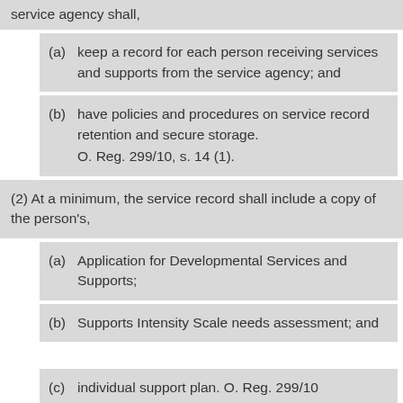service agency shall,
(a) keep a record for each person receiving services and supports from the service agency; and
(b) have policies and procedures on service record retention and secure storage. O. Reg. 299/10, s. 14 (1).
(2) At a minimum, the service record shall include a copy of the person's,
(a) Application for Developmental Services and Supports;
(b) Supports Intensity Scale needs assessment; and
(c) individual support plan. O. Reg. 299/10